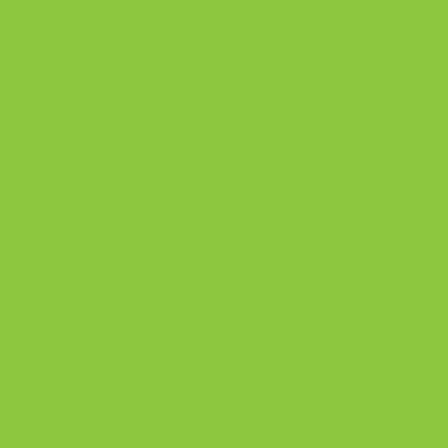| Image | Brand | Info |
| --- | --- | --- |
|  | Pocketsize | Mic Mo |
|  | tricOtronic | Mic Mo |
| [handheld game photo] | Ji21 | Mic Mo |
|  | CGL | Mic Mo |
|  | Videopoche | Mic Mo |